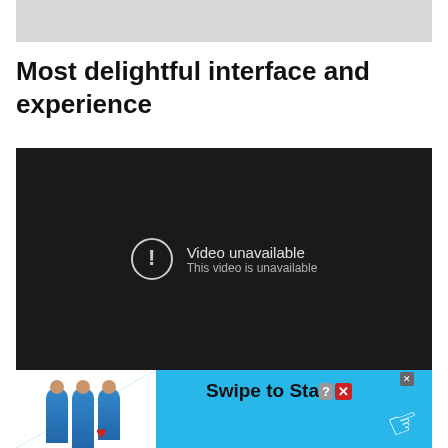[Figure (screenshot): Gray placeholder bar at top of page]
Most delightful interface and experience
[Figure (screenshot): Embedded video player showing 'Video unavailable - This video is unavailable' error message on dark background, with an advertisement banner at the bottom showing 'Swipe to Star' text and cartoon figures on blue background]